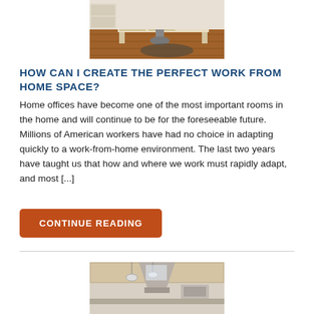[Figure (photo): Home office with a wooden desk, office chair, and hardwood floor with a decorative rug]
HOW CAN I CREATE THE PERFECT WORK FROM HOME SPACE?
Home offices have become one of the most important rooms in the home and will continue to be for the foreseeable future. Millions of American workers have had no choice in adapting quickly to a work-from-home environment. The last two years have taught us that how and where we work must rapidly adapt, and most [...]
CONTINUE READING
[Figure (photo): Kitchen interior with pendant lights, range hood, and wooden cabinets]